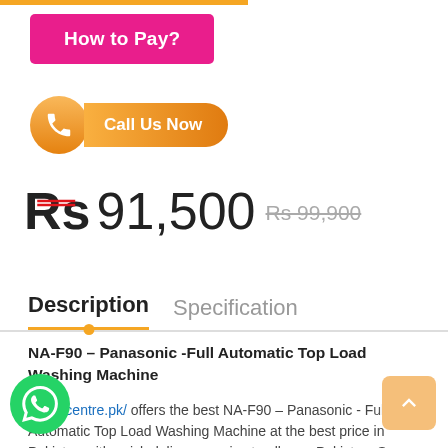[Figure (other): How to Pay button - pink/magenta rounded rectangle button with white text]
[Figure (other): Call Us Now button - orange gradient pill-shaped button with phone icon]
Rs 91,500  Rs 99,900
Description   Specification
NA-F90 – Panasonic -Full Automatic Top Load Washing Machine
radiotvcentre.pk/ offers the best NA-F90 – Panasonic - Full Automatic Top Load Washing Machine at the best price in Pakistan with quick delivery service to all over Pakistan. So why
[Figure (other): WhatsApp contact floating button]
[Figure (other): Scroll to top button - orange square with up arrow]